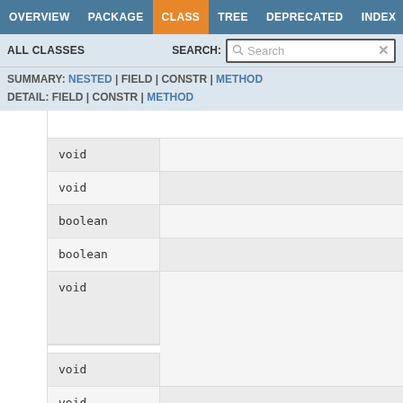OVERVIEW  PACKAGE  CLASS  TREE  DEPRECATED  INDEX
ALL CLASSES   SEARCH:
SUMMARY: NESTED | FIELD | CONSTR | METHOD
DETAIL: FIELD | CONSTR | METHOD
| Type | Description |
| --- | --- |
| void |  |
| void |  |
| boolean |  |
| boolean |  |
| void |  |
|  |  |
| void |  |
| void |  |
| D |  |